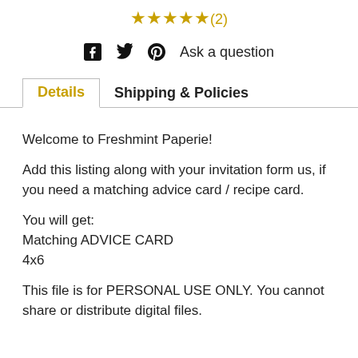★★★★★(2)
f  🐦  𝗽  Ask a question
Details   Shipping & Policies
Welcome to Freshmint Paperie!
Add this listing along with your invitation form us, if you need a matching advice card / recipe card.
You will get:
Matching ADVICE CARD
4x6
This file is for PERSONAL USE ONLY. You cannot share or distribute digital files.